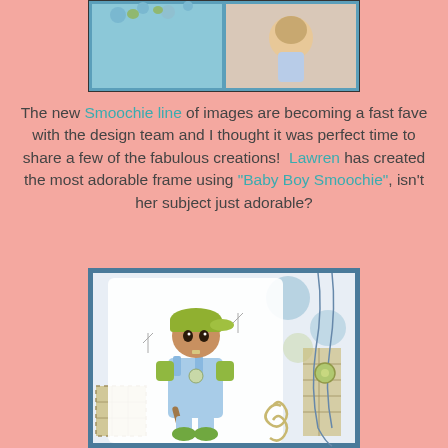[Figure (photo): A decorative photo frame with blue border containing a baby boy image, with craft embellishments including small frog/creature figures along the top edge]
The new Smoochie line of images are becoming a fast fave with the design team and I thought it was perfect time to share a few of the fabulous creations!  Lawren has created the most adorable frame using "Baby Boy Smoochie", isn't her subject just adorable?
[Figure (photo): A handmade craft card featuring a Baby Boy Smoochie image — a cartoon toddler boy with a green baseball cap, blue outfit, holding a baseball bat, with decorative patterned paper background in blues and yellows, twine, and spiral embellishments]